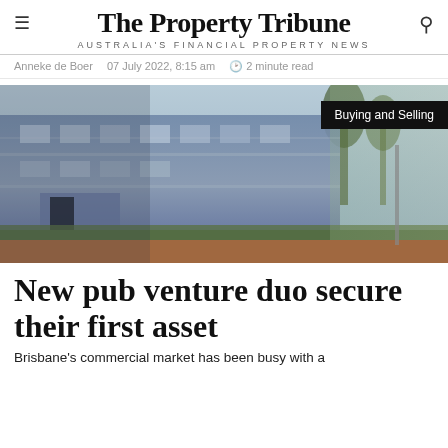The Property Tribune
AUSTRALIA'S FINANCIAL PROPERTY NEWS
Anneke de Boer   07 July 2022, 8:15 am   2 minute read
[Figure (photo): Exterior photo of a pub/commercial building with blue-toned facade, greenery in foreground, and a 'Buying and Selling' category badge overlay in top right corner.]
New pub venture duo secure their first asset
Brisbane's commercial market has been busy with a